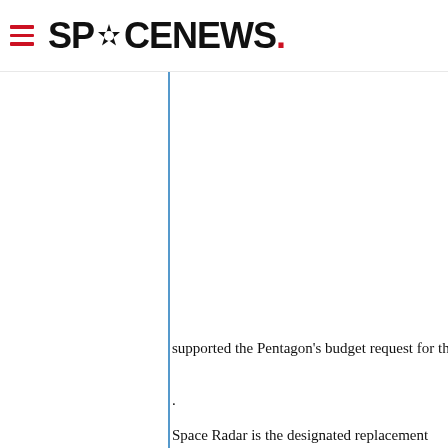SPACENEWS.
supported the Pentagon's budget request for th
.
Space Radar is the designated replacement for classified Future Imagery Architecture radar sa are being built by Boeing Integrated Defense S Louis. The company is vying for a subcontracto